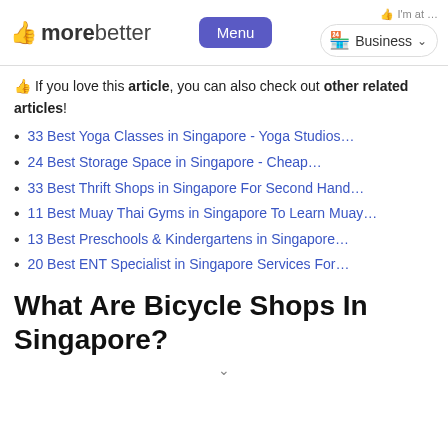morebetter | Menu | I'm at ... | Business
👍 If you love this article, you can also check out other related articles!
33 Best Yoga Classes in Singapore - Yoga Studios…
24 Best Storage Space in Singapore - Cheap…
33 Best Thrift Shops in Singapore For Second Hand…
11 Best Muay Thai Gyms in Singapore To Learn Muay…
13 Best Preschools & Kindergartens in Singapore…
20 Best ENT Specialist in Singapore Services For…
What Are Bicycle Shops In Singapore?